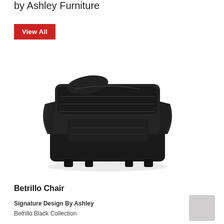by Ashley Furniture
View All
[Figure (photo): Black leather Betrillo Chair by Ashley Furniture, photographed at an angle showing the padded back, wide arms, and dark wooden feet.]
Betrillo Chair
Signature Design By Ashley
Betrillo Black Collection